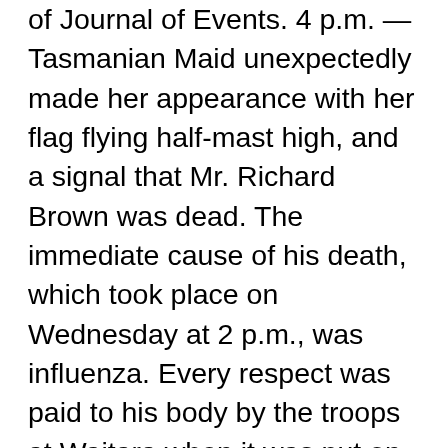of Journal of Events. 4 p.m. — Tasmanian Maid unexpectedly made her appearance with her flag flying half-mast high, and a signal that Mr. Richard Brown was dead. The immediate cause of his death, which took place on Wednesday at 2 p.m., was influenza. Every respect was paid to his body by the troops at Waitara when it was put on board the steamer. The bluejackets at Mount Eliot, under Commodore Seymour, with a gun carriage on the beach, and a guard of honor, received the body and conveyed it to the deceased gentleman's residence in the town. When the coffin was placed on the gun, the guard carried arms, and the numerous assemblage fell in and joined in